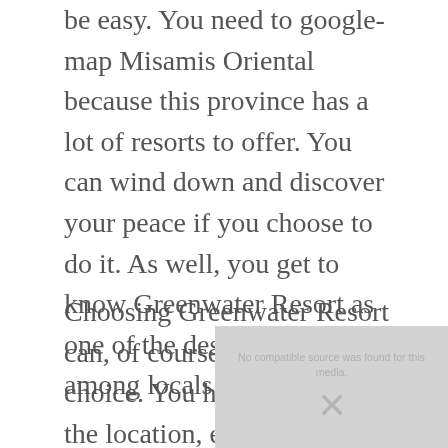be easy. You need to google-map Misamis Oriental because this province has a lot of resorts to offer. You can wind down and discover your peace if you choose to do it. As well, you get to know Greenwater Resort as one of the destinations among locals in the region.
Choosing Greenwater Resort can, of course, be your topic choice. You have to consider the location, especially this pandemic season. In doing so, you need to stick around Misamis Oriental just a little bit and be safe. You know how important it is to be safe during the pandemic season. As such, you better be yourself and try to calm your mind and spirit. If you do, you can visit this serene Greenwater Resort in Jasaan, Misamis Oriental letting you celebrate and enjoy the pleasure of life.
[Figure (other): Video placeholder box showing 'No compatible source was found for this media' message with an X icon]